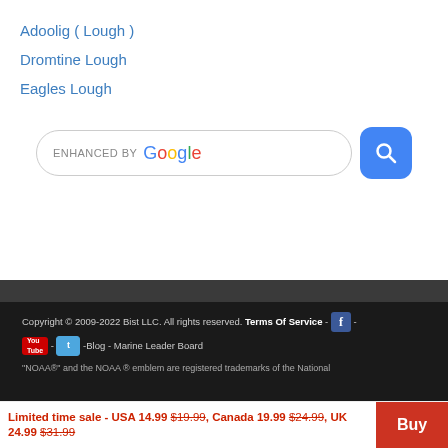Adoolig ( Lough )
Dromtine Lough
Eagles Lough
[Figure (screenshot): Enhanced by Google search bar with blue search button]
Copyright © 2009-2022 Bist LLC. All rights reserved. Terms Of Service - [Facebook icon] - [YouTube icon] - [Twitter icon] -Blog - Marine Leader Board
"NOAA®" and the NOAA ® emblem are registered trademarks of the National
Limited time sale - USA 14.99 $19.99, Canada 19.99 $24.99, UK 24.99 $31.99